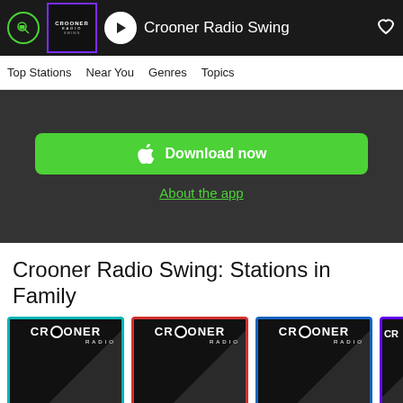[Figure (screenshot): Top navigation bar with Crooner Radio logo, play button, station name 'Crooner Radio Swing', and heart icon]
Top Stations  Near You  Genres  Topics
[Figure (screenshot): App download section with green Download now button (Apple logo) and 'About the app' link on dark background]
Crooner Radio Swing: Stations in Family
[Figure (screenshot): Row of Crooner Radio station cards: Dean Martin (teal border), Julio Iglesias (red border), Frank Sinatra (blue border), and a partially visible fourth card (purple border)]